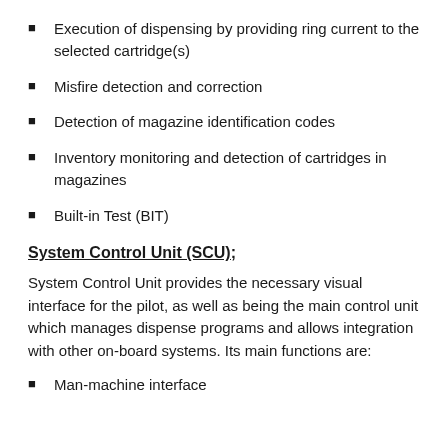Execution of dispensing by providing ring current to the selected cartridge(s)
Misfire detection and correction
Detection of magazine identification codes
Inventory monitoring and detection of cartridges in magazines
Built-in Test (BIT)
System Control Unit (SCU);
System Control Unit provides the necessary visual interface for the pilot, as well as being the main control unit which manages dispense programs and allows integration with other on-board systems. Its main functions are:
Man-machine interface